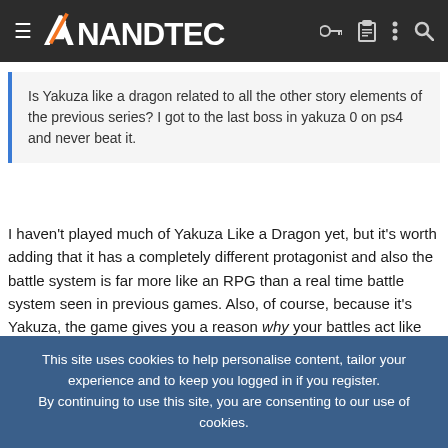AnandTech
Is Yakuza like a dragon related to all the other story elements of the previous series? I got to the last boss in yakuza 0 on ps4 and never beat it.
I haven't played much of Yakuza Like a Dragon yet, but it's worth adding that it has a completely different protagonist and also the battle system is far more like an RPG than a real time battle system seen in previous games. Also, of course, because it's Yakuza, the game gives you a reason why your battles act like an RPG.
sze5003
Lifer
This site uses cookies to help personalise content, tailor your experience and to keep you logged in if you register.
By continuing to use this site, you are consenting to our use of cookies.